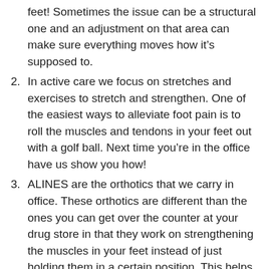feet! Sometimes the issue can be a structural one and an adjustment on that area can make sure everything moves how it’s supposed to.
In active care we focus on stretches and exercises to stretch and strengthen. One of the easiest ways to alleviate foot pain is to roll the muscles and tendons in your feet out with a golf ball. Next time you’re in the office have us show you how!
ALINES are the orthotics that we carry in office. These orthotics are different than the ones you can get over the counter at your drug store in that they work on strengthening the muscles in your feet instead of just holding them in a certain position. This helps your lower body alignment to be better with or without the orthotics in.
Massage on the muscles of the feet and lower legs can work wonders on tightness and tension. A 30 min massage focusing on the lower part of